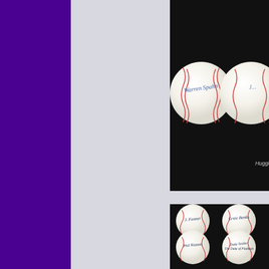[Figure (photo): Two signed baseballs on black background. Left baseball signed 'Warren Spahn', right baseball partially visible signed. Huggins watermark visible bottom right.]
[Figure (photo): Six signed baseballs arranged in 3 rows of 2 on black background. Signatures visible include Ernie Banks, Phil Rizzuto, Duke Snider, Luke Appling, Pee Wee Reese, and one other.]